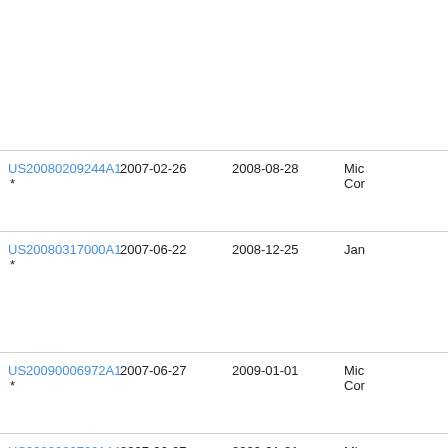| Publication | Filing Date | Publication Date | Assignee |
| --- | --- | --- | --- |
| US20080209244A1 * | 2007-02-26 | 2008-08-28 | Mic
Cor |
| US20080317000A1 * | 2007-06-22 | 2008-12-25 | Jan |
| US20090006972A1 * | 2007-06-27 | 2009-01-01 | Mic
Cor |
| US20090007091A1 * | 2007-06-27 | 2009-01-01 | Mic
Cor |
| US20090109117A1 * | 2007-10-25 | 2009-04-30 | Joh |